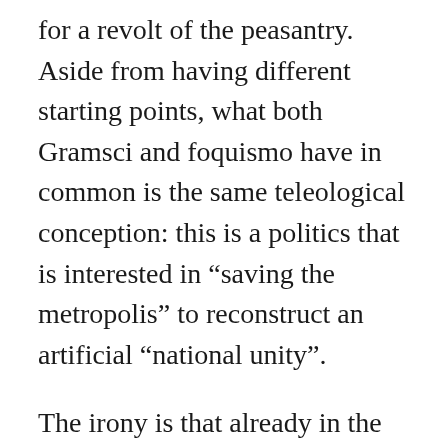for a revolt of the peasantry. Aside from having different starting points, what both Gramsci and foquismo have in common is the same teleological conception: this is a politics that is interested in “saving the metropolis” to reconstruct an artificial “national unity”.

The irony is that already in the 1960s the Gramscian dream of a metropolitan civilization was brought about in the post-Fordist regime of production which, as Marcello Tarì has shown in an important book about Italian Autonomia, realized a new